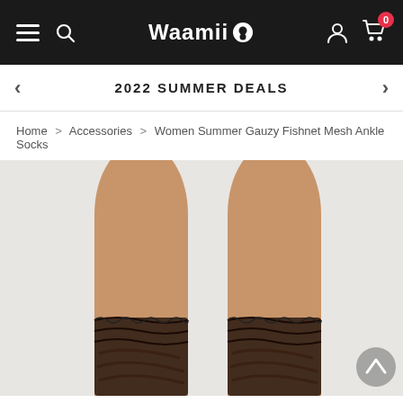Waamii — navigation bar with hamburger menu, search icon, logo, user icon, cart (0)
2022 SUMMER DEALS
Home > Accessories > Women Summer Gauzy Fishnet Mesh Ankle Socks
[Figure (photo): Product photo of two legs wearing black fishnet mesh ankle socks with ruffle trim, against a light grey background.]